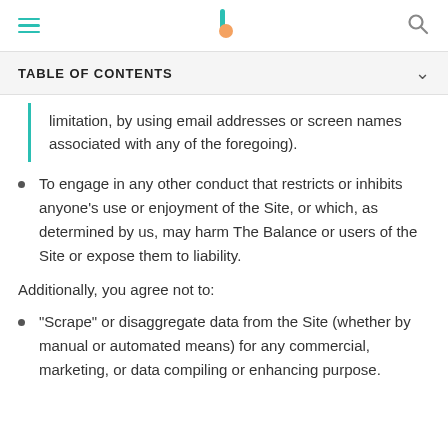Navigation bar with hamburger menu, The Balance logo, and search icon
TABLE OF CONTENTS
limitation, by using email addresses or screen names associated with any of the foregoing).
To engage in any other conduct that restricts or inhibits anyone's use or enjoyment of the Site, or which, as determined by us, may harm The Balance or users of the Site or expose them to liability.
Additionally, you agree not to:
"Scrape" or disaggregate data from the Site (whether by manual or automated means) for any commercial, marketing, or data compiling or enhancing purpose.